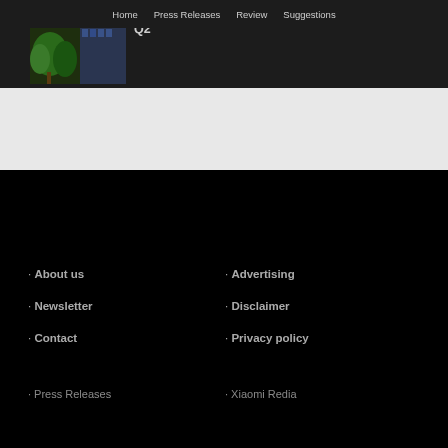Home  Press Releases  Review  Suggestions
Xiaomi Posts Revenue of RMB70.2 Billion in 2022 Q2
[Figure (photo): Thumbnail photo of a Xiaomi building with trees and glass architecture]
· About us
· Newsletter
· Contact
· Advertising
· Disclaimer
· Privacy policy
· Press Releases
· Xiaomi Redia